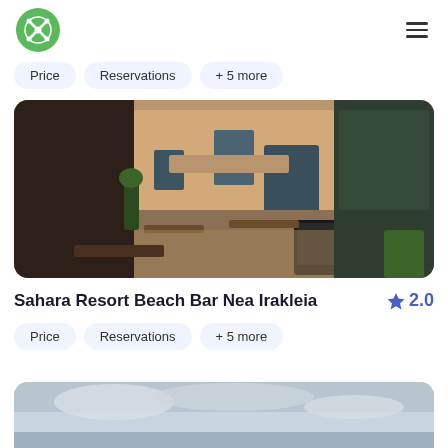[Figure (logo): Green circle logo with white X/cross pattern inside]
[Figure (other): Hamburger menu icon (three horizontal lines)]
Price
Reservations
+ 5 more
[Figure (photo): Outdoor cafe/bar with tables, chairs, plants and a menu chalkboard sign on a European street]
Sahara Resort Beach Bar Nea Irakleia
2.0
Price
Reservations
+ 5 more
[Figure (photo): Partially visible photo showing a cloudy sky and landscape at the bottom of the page]